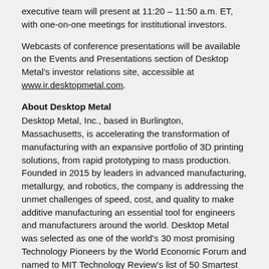executive team will present at 11:20 – 11:50 a.m. ET, with one-on-one meetings for institutional investors.
Webcasts of conference presentations will be available on the Events and Presentations section of Desktop Metal's investor relations site, accessible at www.ir.desktopmetal.com.
About Desktop Metal
Desktop Metal, Inc., based in Burlington, Massachusetts, is accelerating the transformation of manufacturing with an expansive portfolio of 3D printing solutions, from rapid prototyping to mass production. Founded in 2015 by leaders in advanced manufacturing, metallurgy, and robotics, the company is addressing the unmet challenges of speed, cost, and quality to make additive manufacturing an essential tool for engineers and manufacturers around the world. Desktop Metal was selected as one of the world's 30 most promising Technology Pioneers by the World Economic Forum and named to MIT Technology Review's list of 50 Smartest Companies.
For more information, visit www.desktopmetal.com.
Forward-looking Statements